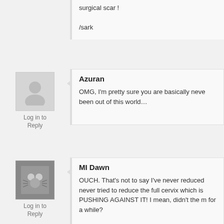surgical scar!
/sark
Azuran
OMG, I'm pretty sure you are basically neve been out of this world…
Log in to Reply
MI Dawn
OUCH. That's not to say I've never reduced never tried to reduce the full cervix which is PUSHING AGAINST IT! I mean, didn't the m for a while?
Log in to Reply
Guest
WHAT THE HELL!?!?! I don't even understand. head? Letting her push ALL day? When they KN favorite parts of home birth stories is how the mi same point to show - SERIOUSLY!?!?! They're
Log in to Reply